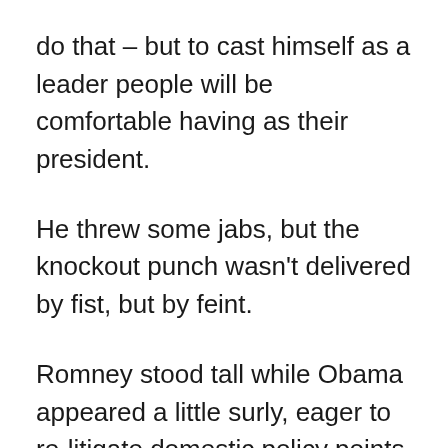do that – but to cast himself as a leader people will be comfortable having as their president.
He threw some jabs, but the knockout punch wasn't delivered by fist, but by feint.
Romney stood tall while Obama appeared a little surly, eager to re-litigate domestic policy points that the two had already plowed through in two debates. By repeatedly demeaning Romney, Obama demeaned himself. The proverbial Martian visiting earth for the first